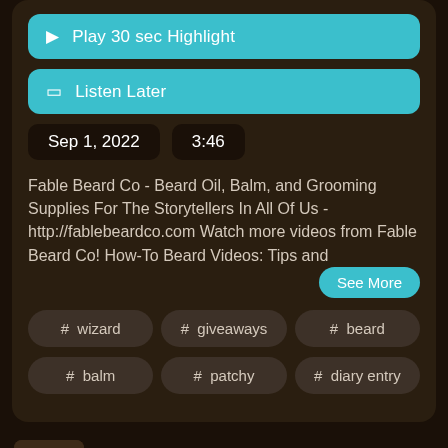[Figure (screenshot): Play 30 sec Highlight button (teal/cyan rounded rectangle)]
[Figure (screenshot): Listen Later button (teal/cyan rounded rectangle)]
Sep 1, 2022   3:46
Fable Beard Co - Beard Oil, Balm, and Grooming Supplies For The Storytellers In All Of Us - http://fablebeardco.com Watch more videos from Fable Beard Co! How-To Beard Videos: Tips and
See More
# wizard
# giveaways
# beard
# balm
# patchy
# diary entry
Howie Doody